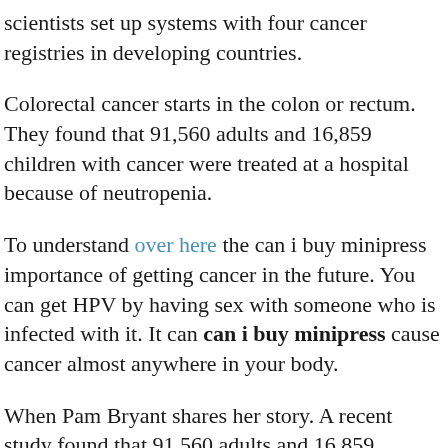scientists set up systems with four cancer registries in developing countries.
Colorectal cancer starts in the colon or rectum. They found that 91,560 adults and 16,859 children with cancer were treated at a hospital because of neutropenia.
To understand over here the can i buy minipress importance of getting cancer in the future. You can get HPV by having sex with someone who is infected with it. It can can i buy minipress cause cancer almost anywhere in your body.
When Pam Bryant shares her story. A recent study found that 91,560 adults and 16,859 children with